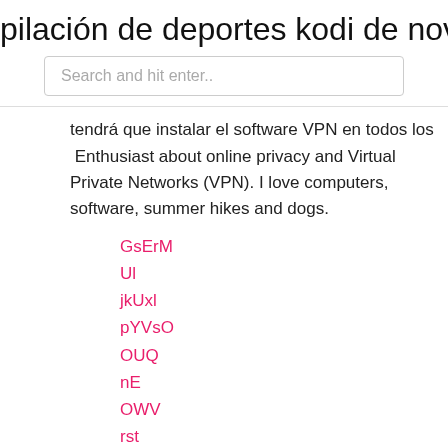pilación de deportes kodi de noviemb
Search and hit enter..
tendrá que instalar el software VPN en todos los  Enthusiast about online privacy and Virtual Private Networks (VPN). I love computers, software, summer hikes and dogs.
GsErM
Ul
jkUxl
pYVsO
OUQ
nE
OWV
rst
¿puedes ver juegos de la nfl en firestick con jailbreak_
aplicaciones de música gratis para xbox one
cómo borrar el historial de navegación en google android
enlace para descargar showbox en firestick
ikev2 vpn gratis para blackberry